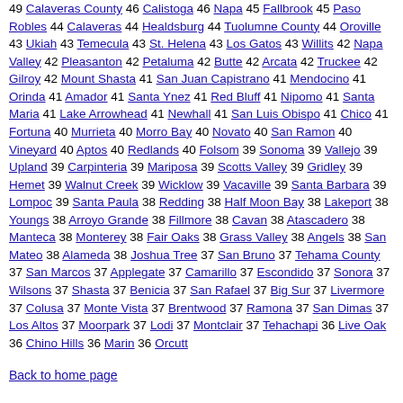49 Calaveras County 46 Calistoga 46 Napa 45 Fallbrook 45 Paso Robles 44 Calaveras 44 Healdsburg 44 Tuolumne County 44 Oroville 43 Ukiah 43 Temecula 43 St. Helena 43 Los Gatos 43 Willits 42 Napa Valley 42 Pleasanton 42 Petaluma 42 Butte 42 Arcata 42 Truckee 42 Gilroy 42 Mount Shasta 41 San Juan Capistrano 41 Mendocino 41 Orinda 41 Amador 41 Santa Ynez 41 Red Bluff 41 Nipomo 41 Santa Maria 41 Lake Arrowhead 41 Newhall 41 San Luis Obispo 41 Chico 41 Fortuna 40 Murrieta 40 Morro Bay 40 Novato 40 San Ramon 40 Vineyard 40 Aptos 40 Redlands 40 Folsom 39 Sonoma 39 Vallejo 39 Upland 39 Carpinteria 39 Mariposa 39 Scotts Valley 39 Gridley 39 Hemet 39 Walnut Creek 39 Wicklow 39 Vacaville 39 Santa Barbara 39 Lompoc 39 Santa Paula 38 Redding 38 Half Moon Bay 38 Lakeport 38 Youngs 38 Arroyo Grande 38 Fillmore 38 Cavan 38 Atascadero 38 Manteca 38 Monterey 38 Fair Oaks 38 Grass Valley 38 Angels 38 San Mateo 38 Alameda 38 Joshua Tree 37 San Bruno 37 Tehama County 37 San Marcos 37 Applegate 37 Camarillo 37 Escondido 37 Sonora 37 Wilsons 37 Shasta 37 Benicia 37 San Rafael 37 Big Sur 37 Livermore 37 Colusa 37 Monte Vista 37 Brentwood 37 Ramona 37 San Dimas 37 Los Altos 37 Moorpark 37 Lodi 37 Montclair 37 Tehachapi 36 Live Oak 36 Chino Hills 36 Marin 36 Orcutt
Back to home page